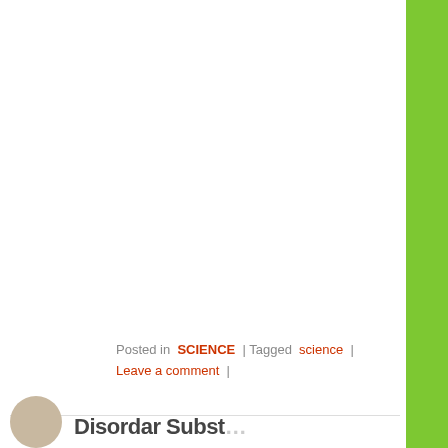Posted in  SCIENCE  | Tagged  science  | Leave a comment  |
Disordar Subst...